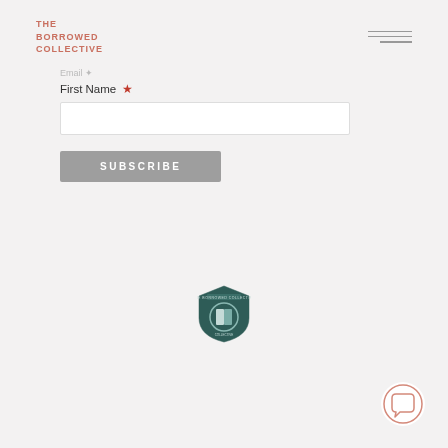THE BORROWED COLLECTIVE
First Name *
[Figure (screenshot): Text input field for First Name]
[Figure (screenshot): SUBSCRIBE button in gray]
[Figure (logo): The Borrowed Collective shield logo in dark teal/green with a book/door icon]
[Figure (illustration): Chat bubble icon, circular, bottom right corner]